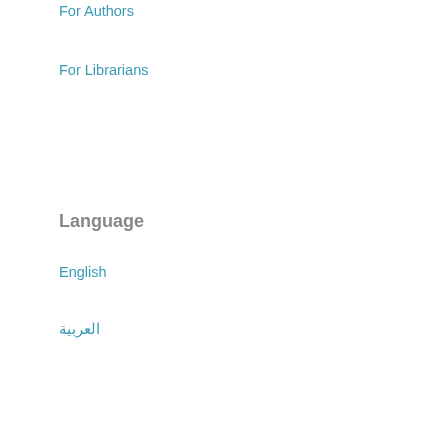For Authors
For Librarians
Language
English
العربية
Make a Submission
Current Issue
[Figure (other): ATOM 1.0 feed badge]
[Figure (other): RSS 2.0 feed badge]
[Figure (other): Third feed badge (partially visible)]